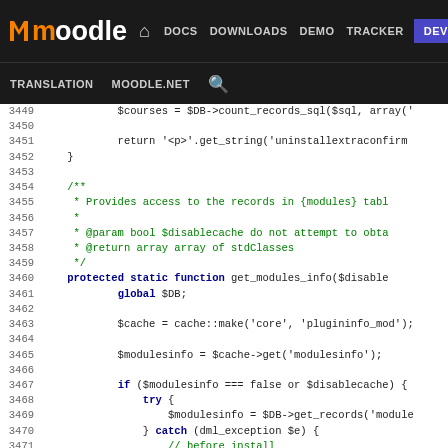moodle DOCS DOWNLOADS DEMO TRACKER DEV TRANSLATION MOODLE.NET [search]
[Figure (screenshot): Moodle developer documentation website navigation bar with black background showing logo, nav links (DOCS, DOWNLOADS, DEMO, TRACKER, DEV highlighted in purple), TRANSLATION, MOODLE.NET, and search icon]
Code viewer showing PHP source lines 3449-3474 from Moodle codebase including get_modules_info function with cache, database access, and exception handling
3449    $courses = $DB->count_records_sql($sql, array('
3450
3451            return '<p>'.get_string('uninstallextraconfirm
3452    }
3453
3454    /**
3455     * Provides access to the records in {modules} tabl
3456     *
3457     * @param bool $disablecache do not attempt to obta
3458     * @return array array of stdClasses
3459     */
3460    protected static function get_modules_info($disable
3461            global $DB;
3462
3463            $cache = cache::make('core', 'plugininfo_mod');
3464
3465            $modulesinfo = $cache->get('modulesinfo');
3466
3467            if ($modulesinfo === false or $disablecache) {
3468                try {
3469                    $modulesinfo = $DB->get_records('module
3470                } catch (dml_exception $e) {
3471                    // before install
3472                    $modulesinfo = array();
3473                }
3474    $cache->set('modulesinfo', $modulesinfo);